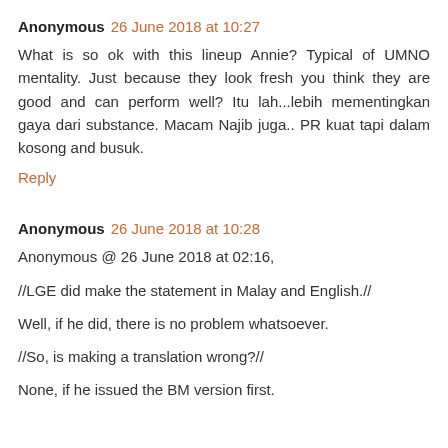Anonymous 26 June 2018 at 10:27
What is so ok with this lineup Annie? Typical of UMNO mentality. Just because they look fresh you think they are good and can perform well? Itu lah...lebih mementingkan gaya dari substance. Macam Najib juga.. PR kuat tapi dalam kosong and busuk.
Reply
Anonymous 26 June 2018 at 10:28
Anonymous @ 26 June 2018 at 02:16,
//LGE did make the statement in Malay and English.//
Well, if he did, there is no problem whatsoever.
//So, is making a translation wrong?//
None, if he issued the BM version first.